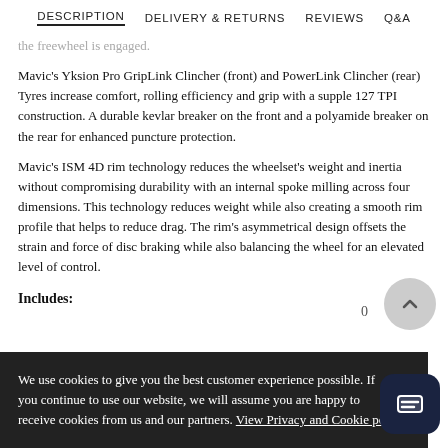DESCRIPTION   DELIVERY & RETURNS   REVIEWS   Q&A
the freewheel is engaged.
Mavic's Yksion Pro GripLink Clincher (front) and PowerLink Clincher (rear) Tyres increase comfort, rolling efficiency and grip with a supple 127 TPI construction. A durable kevlar breaker on the front and a polyamide breaker on the rear for enhanced puncture protection.
Mavic's ISM 4D rim technology reduces the wheelset's weight and inertia without compromising durability with an internal spoke milling across four dimensions. This technology reduces weight while also creating a smooth rim profile that helps to reduce drag. The rim's asymmetrical design offsets the strain and force of disc braking while also balancing the wheel for an elevated level of control.
Includes:
We use cookies to give you the best customer experience possible. If you continue to use our website, we will assume you are happy to receive cookies from us and our partners. View Privacy and Cookie policy.